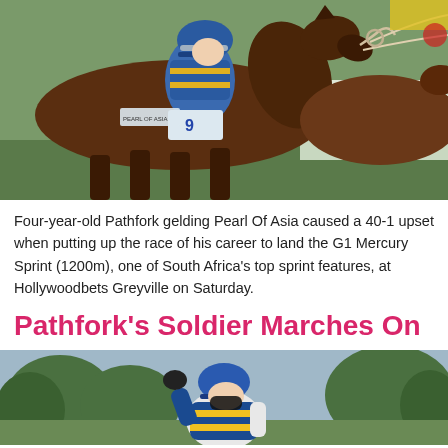[Figure (photo): Close-up action photo of a brown thoroughbred racehorse with jockey wearing blue and yellow silks and number 9, with text 'PEARL OF ASIA' on the saddlecloth, racing at Hollywoodbets Greyville]
Four-year-old Pathfork gelding Pearl Of Asia caused a 40-1 upset when putting up the race of his career to land the G1 Mercury Sprint (1200m), one of South Africa's top sprint features, at Hollywoodbets Greyville on Saturday.
Pathfork's Soldier Marches On
[Figure (photo): Photo of a jockey in blue and yellow striped silks and blue helmet with black face mask, celebrating with fist raised, trees in background]